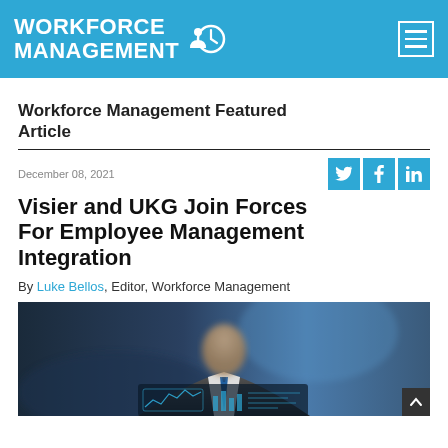WORKFORCE MANAGEMENT
Workforce Management Featured Article
December 08, 2021
Visier and UKG Join Forces For Employee Management Integration
By Luke Bellos, Editor, Workforce Management
[Figure (photo): Blurred photo of a businessman in a suit with blue tie, holding or interacting with a futuristic digital interface/dashboard display]